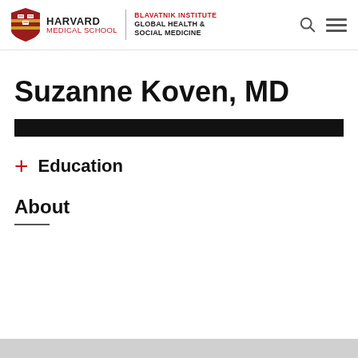Harvard Medical School | Blavatnik Institute Global Health & Social Medicine
Suzanne Koven, MD
Education
About